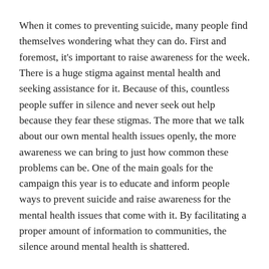When it comes to preventing suicide, many people find themselves wondering what they can do. First and foremost, it's important to raise awareness for the week. There is a huge stigma against mental health and seeking assistance for it. Because of this, countless people suffer in silence and never seek out help because they fear these stigmas. The more that we talk about our own mental health issues openly, the more awareness we can bring to just how common these problems can be. One of the main goals for the campaign this year is to educate and inform people ways to prevent suicide and raise awareness for the mental health issues that come with it. By facilitating a proper amount of information to communities, the silence around mental health is shattered.
Learn more about how to help your love ones: